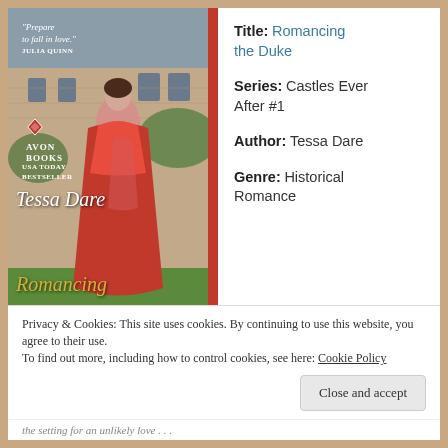[Figure (illustration): Book cover for 'Romancing the Duke' by Tessa Dare, published by Avon Books. Shows a woman in a red ball gown standing before a castle. Includes blurb 'Prepare to fall in love.' – Julia Quinn, Avon Books logo, USA Today Bestseller label, author name Tessa Dare, and title Romancing the Duke in gold italic text.]
Title: Romancing the Duke
Series: Castles Ever After #1
Author: Tessa Dare
Genre: Historical Romance
Privacy & Cookies: This site uses cookies. By continuing to use this website, you agree to their use.
To find out more, including how to control cookies, see here: Cookie Policy
Close and accept
the setting for an unlikely love . . .